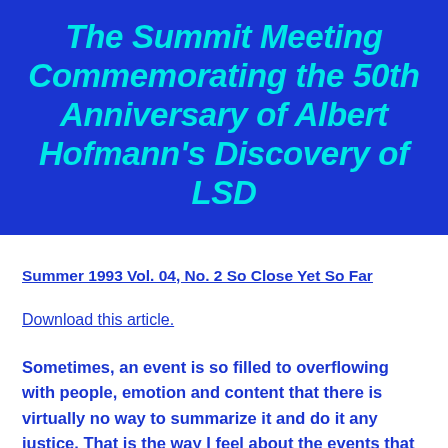The Summit Meeting Commemorating the 50th Anniversary of Albert Hofmann's Discovery of LSD
Summer 1993 Vol. 04, No. 2 So Close Yet So Far
Download this article.
Sometimes, an event is so filled to overflowing with people, emotion and content that there is virtually no way to summarize it and do it any justice. That is the way I feel about the events that MAPS helped to coordinate commemorating the 50th anniversary of Albert Hofmann's discovery of LSD. Over the course of